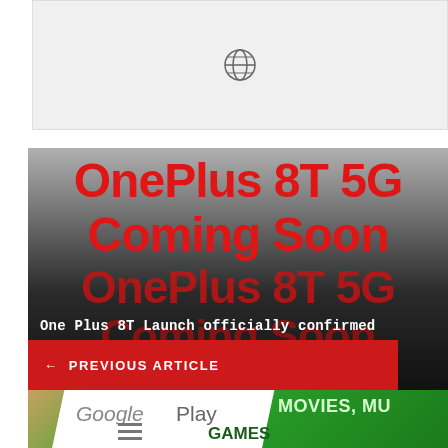[Figure (screenshot): Top banner with globe/world icon on light gray background]
[Figure (screenshot): OnePlus 8T 5G Coming Soon promotional image with red text repeated on dark gradient background]
One Plus 8T Launch officially confirmed
← PREVIOUS ARTICLE
[Figure (screenshot): Google Play store app screenshot showing green banner with MOVIES, MUSIC and GAMES sections visible]